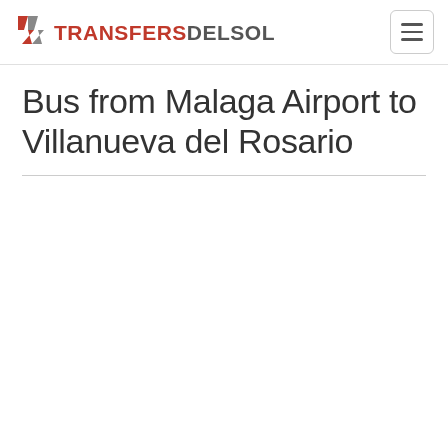TRANSFERSDELSOL
Bus from Malaga Airport to Villanueva del Rosario